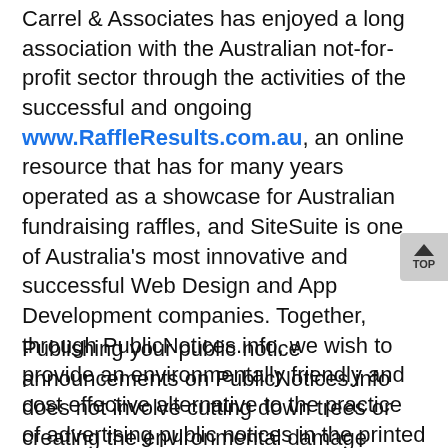Carrel & Associates has enjoyed a long association with the Australian not-for-profit sector through the activities of the successful and ongoing www.RaffleResults.com.au, an online resource that has for many years operated as a showcase for Australian fundraising raffles, and SiteSuite is one of Australia's most innovative and successful Web Design and App Development companies. Together, through PublicNotices.info, we wish to provide an environmentally friendly and cost effective alternative to the practice of advertising public notices in the printed versions of newspapers.
Publishing your public notice announcements on PublicNotices.info does not involve cutting down trees or creating the environmental damage associated with paper manufacture. You will remove the need for your public to buy the newspapers